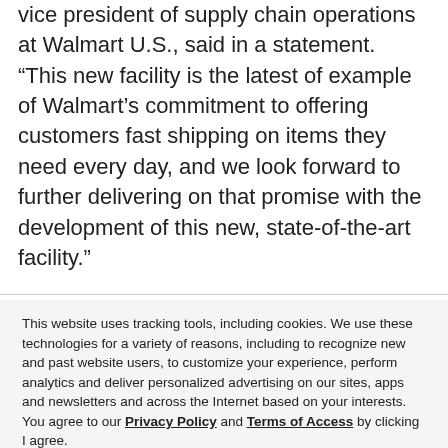vice president of supply chain operations at Walmart U.S., said in a statement. “This new facility is the latest of example of Walmart’s commitment to offering customers fast shipping on items they need every day, and we look forward to further delivering on that promise with the development of this new, state-of-the-art facility.”
This website uses tracking tools, including cookies. We use these technologies for a variety of reasons, including to recognize new and past website users, to customize your experience, perform analytics and deliver personalized advertising on our sites, apps and newsletters and across the Internet based on your interests.
You agree to our Privacy Policy and Terms of Access by clicking I agree.
Cookie settings   ACCEPT